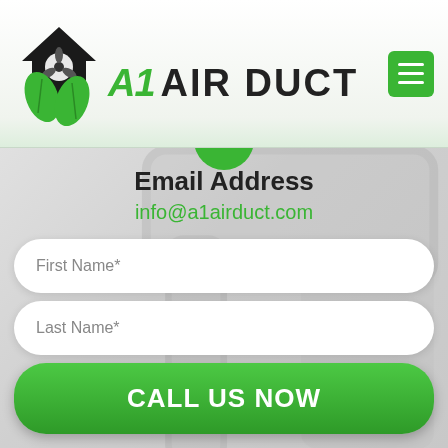[Figure (logo): A1 Air Duct logo with house/fan/leaf icon and green italic A1 text followed by AIR DUCT in bold black]
Email Address
info@a1airduct.com
First Name*
Last Name*
CALL US NOW